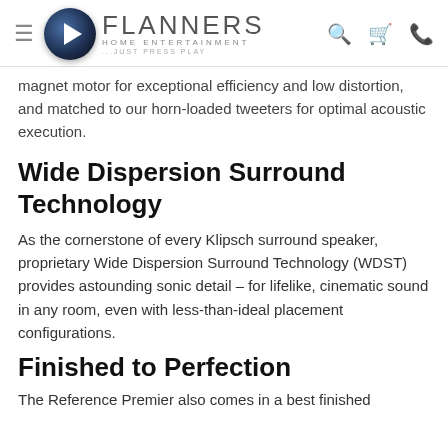Flanners Home Entertainment — Just Press Play
magnet motor for exceptional efficiency and low distortion, and matched to our horn-loaded tweeters for optimal acoustic execution.
Wide Dispersion Surround Technology
As the cornerstone of every Klipsch surround speaker, proprietary Wide Dispersion Surround Technology (WDST) provides astounding sonic detail – for lifelike, cinematic sound in any room, even with less-than-ideal placement configurations.
Finished to Perfection
The Reference Premier also comes in a best finished...